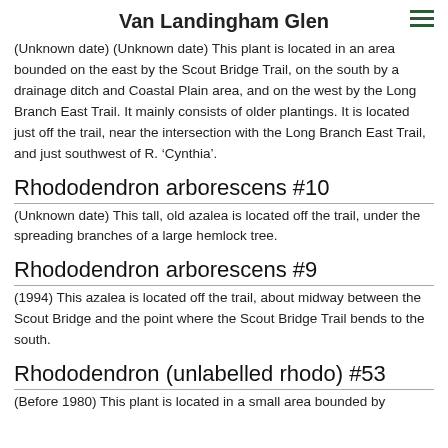Van Landingham Glen
(Unknown date) (Unknown date) This plant is located in an area bounded on the east by the Scout Bridge Trail, on the south by a drainage ditch and Coastal Plain area, and on the west by the Long Branch East Trail. It mainly consists of older plantings. It is located just off the trail, near the intersection with the Long Branch East Trail, and just southwest of R. ‘Cynthia’.
Rhododendron arborescens #10
(Unknown date) This tall, old azalea is located off the trail, under the spreading branches of a large hemlock tree.
Rhododendron arborescens #9
(1994) This azalea is located off the trail, about midway between the Scout Bridge and the point where the Scout Bridge Trail bends to the south.
Rhododendron (unlabelled rhodo) #53
(Before 1980) This plant is located in a small area bounded by